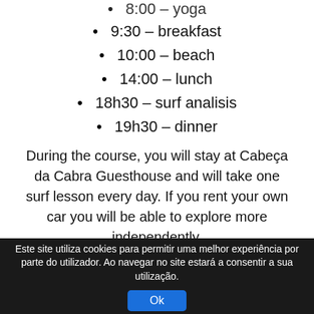8:00 – yoga
9:30 – breakfast
10:00 – beach
14:00 – lunch
18h30 – surf analisis
19h30 – dinner
During the course, you will stay at Cabeça da Cabra Guesthouse and will take one surf lesson every day. If you rent your own car you will be able to explore more independently.
However, if you choose not to rent a car, we will be here to guide you in exploring the wonderful and secluded places of
Este site utiliza cookies para permitir uma melhor experiência por parte do utilizador. Ao navegar no site estará a consentir a sua utilização.